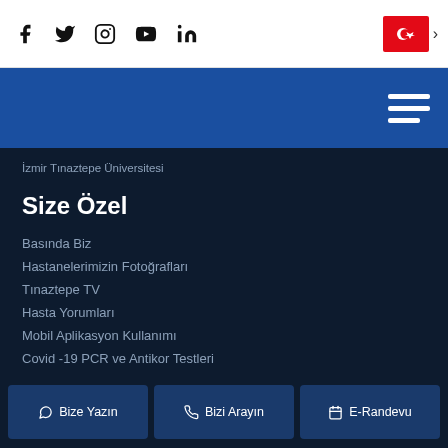[Figure (screenshot): Top navigation bar with social media icons (Facebook, Twitter, Instagram, YouTube, LinkedIn) and Turkish flag language selector]
[Figure (screenshot): Blue navigation bar with hamburger menu icon]
İzmir Tınaztepe Üniversitesi
Size Özel
Basında Biz
Hastanelerimizin Fotoğrafları
Tınaztepe TV
Hasta Yorumları
Mobil Aplikasyon Kullanımı
Covid -19 PCR ve Antikor Testleri
Bize Yazın | Bizi Arayın | E-Randevu